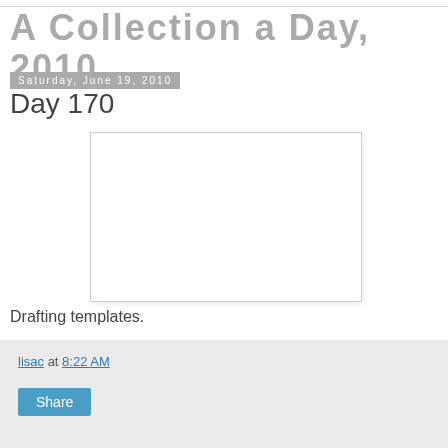A Collection a Day, 2010
Saturday, June 19, 2010
Day 170
[Figure (photo): A blank white rectangular image placeholder with a light border and subtle shadow]
Drafting templates.
lisac at 8:22 AM  Share